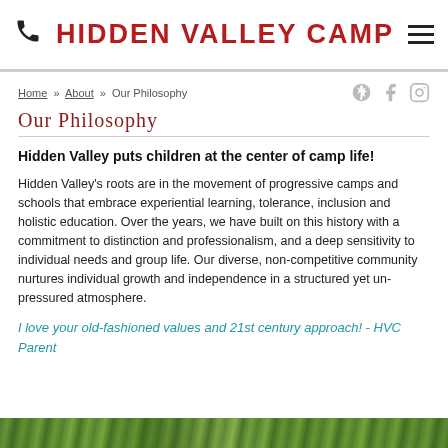HIDDEN VALLEY CAMP
Home » About » Our Philosophy
Our Philosophy
Hidden Valley puts children at the center of camp life!
Hidden Valley's roots are in the movement of progressive camps and schools that embrace experiential learning, tolerance, inclusion and holistic education. Over the years, we have built on this history with a commitment to distinction and professionalism, and a deep sensitivity to individual needs and group life. Our diverse, non-competitive community nurtures individual growth and independence in a structured yet un-pressured atmosphere.
I love your old-fashioned values and 21st century approach! - HVC Parent
[Figure (photo): Green outdoor nature photo strip at bottom of page]